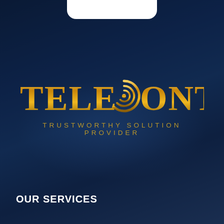[Figure (logo): TELECONTRAN logo with golden metallic lettering on dark navy blue background. A circular radar/signal icon replaces the letter C. Tagline reads TRUSTWORTHY SOLUTION PROVIDER in gold spaced lettering.]
OUR SERVICES